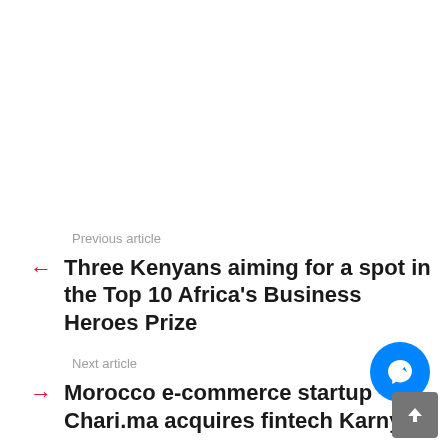Previous article
Three Kenyans aiming for a spot in the Top 10 Africa's Business Heroes Prize
Next article
Morocco e-commerce startup Chari.ma acquires fintech Karny.ma